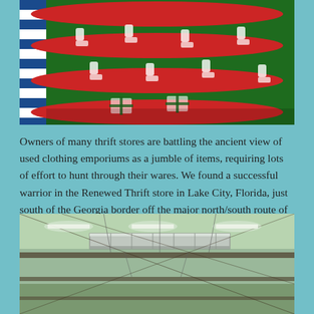[Figure (photo): Close-up photograph of a colorful Christmas/holiday sweater with red and green patterns including Christmas stockings and candy canes. A blue and white striped item is visible on the left edge.]
Owners of many thrift stores are battling the ancient view of used clothing emporiums as a jumble of items, requiring lots of effort to hunt through their wares. We found a successful warrior in the Renewed Thrift store in Lake City, Florida, just south of the Georgia border off the major north/south route of Interstate 75.
[Figure (photo): Interior photograph of a large warehouse or retail space showing the ceiling with exposed metal ductwork, beams, and fluorescent lighting against a light green ceiling.]